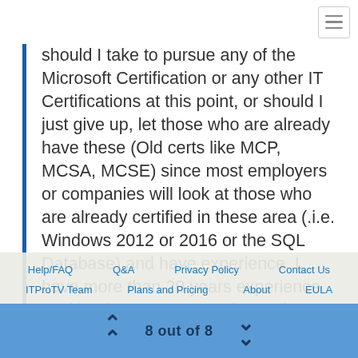should I take to pursue any of the Microsoft Certification or any other IT Certifications at this point, or should I just give up, let those who are already have these (Old certs like MCP, MCSA, MCSE) since most employers or companies will look at those who are already certified in these area (.i.e. Windows 2012 or 2016 or the SQL Database) and have experience. I have more than 20 years experience working in customer service and or retail
Help/FAQ   Q&A   Privacy Policy   Contact Us   ITProTV Team   Plans and Pricing   About   EULA
8 out of 8